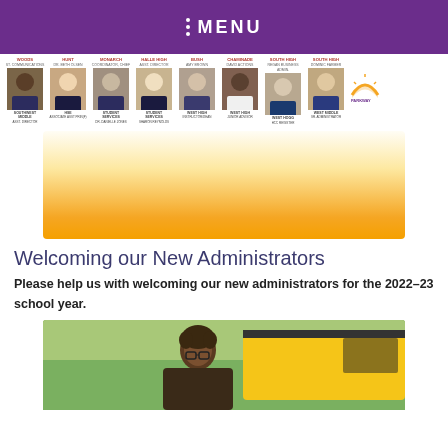MENU
[Figure (photo): Grid of administrator headshot photos with labels for various Parkway school roles (Woods, Hunt, Monarch, Halle High, Bush, Chaminade, South High, South High, South High, Southwest Middle, HSE, Student Services, Student Services, West High, West High, West Hogg, West Middle) with Parkway logo]
[Figure (photo): Orange to white gradient decorative banner image]
Welcoming our New Administrators
Please help us with welcoming our new administrators for the 2022–23 school year.
[Figure (photo): Photo of a person with curly hair and glasses in front of a yellow school bus with green trees in background]